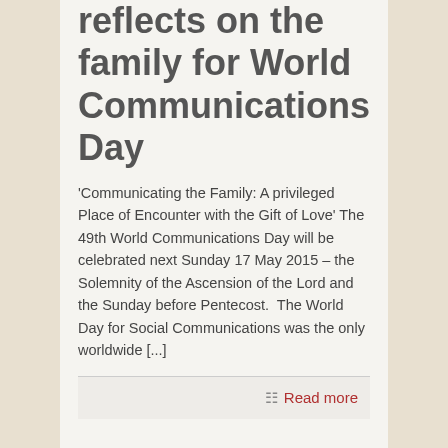reflects on the family for World Communications Day
'Communicating the Family: A privileged Place of Encounter with the Gift of Love' The 49th World Communications Day will be celebrated next Sunday 17 May 2015 – the Solemnity of the Ascension of the Lord and the Sunday before Pentecost.  The World Day for Social Communications was the only worldwide [...]
Read more
April 29, 2015
Parish Calls system